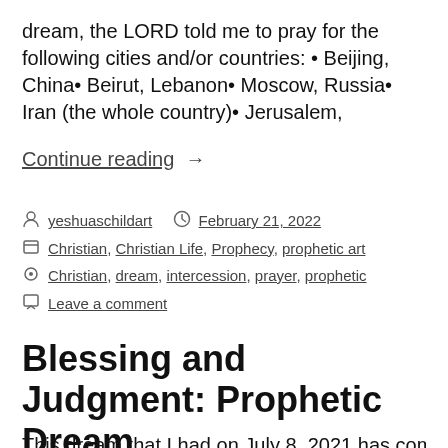dream, the LORD told me to pray for the following cities and/or countries: • Beijing, China• Beirut, Lebanon• Moscow, Russia• Iran (the whole country)• Jerusalem,
Continue reading  →
By yeshuaschildart   February 21, 2022
Christian, Christian Life, Prophecy, prophetic art
Christian, dream, intercession, prayer, prophetic
Leave a comment
Blessing and Judgment: Prophetic Dream
This dream that I had on July 8, 2021 has come to